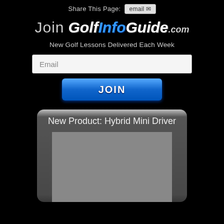Share This Page: email
Join GolfInfoGuide.com
New Golf Lessons Delivered Each Week
Email
JOIN
New Product: Hybrid Mini Driver
[Figure (photo): Placeholder image area for product photo of Hybrid Mini Driver]